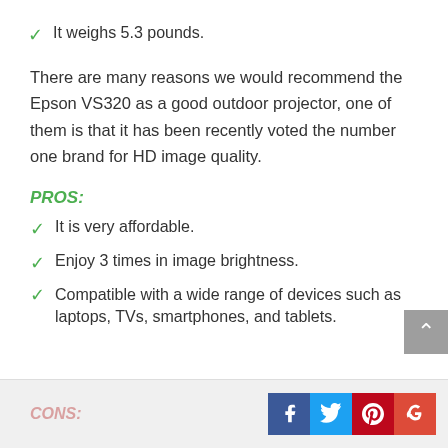It weighs 5.3 pounds.
There are many reasons we would recommend the Epson VS320 as a good outdoor projector, one of them is that it has been recently voted the number one brand for HD image quality.
PROS:
It is very affordable.
Enjoy 3 times in image brightness.
Compatible with a wide range of devices such as laptops, TVs, smartphones, and tablets.
CONS: